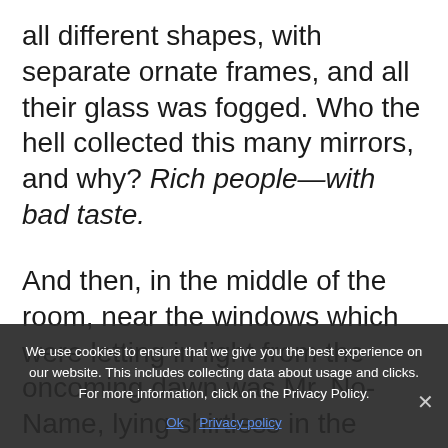all different shapes, with separate ornate frames, and all their glass was fogged. Who the hell collected this many mirrors, and why? Rich people—with bad taste.
And then, in the middle of the room, near the windows which were letting in light from the oncoming dawn was Mr. No-Name, lying shirtless in the middle of a very large bed. The green carpeting directly to him.
We use cookies to ensure that we give you the best experience on our website. This includes collecting data about usage and clicks. For more information, click on the Privacy Policy.